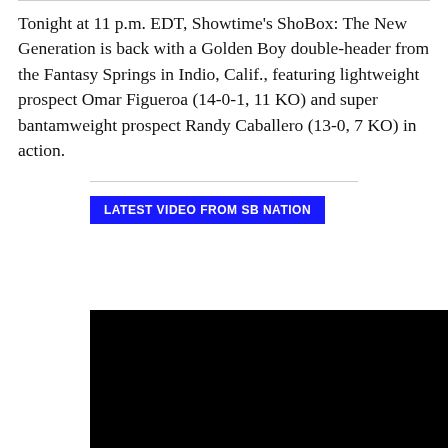Tonight at 11 p.m. EDT, Showtime's ShoBox: The New Generation is back with a Golden Boy double-header from the Fantasy Springs in Indio, Calif., featuring lightweight prospect Omar Figueroa (14-0-1, 11 KO) and super bantamweight prospect Randy Caballero (13-0, 7 KO) in action.
LATEST VIDEO FROM SB NATION
[Figure (other): Black video thumbnail placeholder]